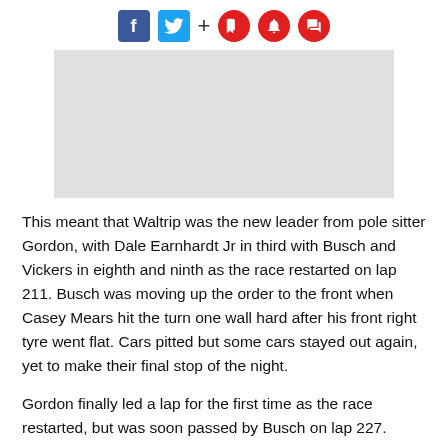Social share icons: Facebook, Twitter, +, bookmark, bell, comment
[Figure (other): Gray placeholder rectangle for an image]
This meant that Waltrip was the new leader from pole sitter Gordon, with Dale Earnhardt Jr in third with Busch and Vickers in eighth and ninth as the race restarted on lap 211. Busch was moving up the order to the front when Casey Mears hit the turn one wall hard after his front right tyre went flat. Cars pitted but some cars stayed out again, yet to make their final stop of the night.
Gordon finally led a lap for the first time as the race restarted, but was soon passed by Busch on lap 227.